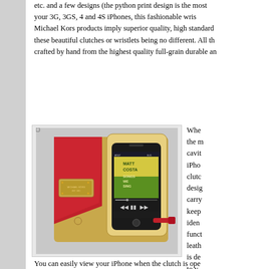etc. and a few designs (the python print design is the most popular). Compatible with your 3G, 3GS, 4 and 4S iPhones, this fashionable wristlet will carry your phone safely. Michael Kors products imply superior quality, high standards and craftsmanship, with these beautiful clutches or wristlets being no different. All the iphone wristlets are crafted by hand from the highest quality full-grain durable and
[Figure (photo): Photo of a Michael Kors leather wristlet/clutch open to reveal an iPhone 4/4S inside. The exterior is red patent leather and the interior is gold metallic leather with a branded gold plate. The iPhone shows a music player screen with album art (Matt Costa Songs We Sing). A wrist strap is visible.]
When you open the main cavity of the iPhone 4 clutch it is designed to carry your iPhone, keep your IDs, functional leather wallet is designed to you scra cut-o touch dura
You can easily view your iPhone when the clutch is open